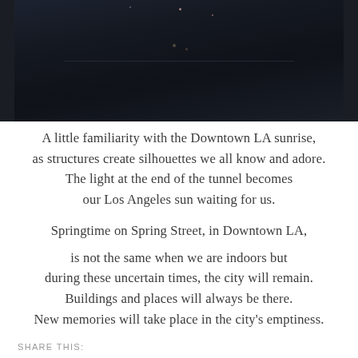[Figure (photo): Dark nighttime or pre-dawn cityscape photo of Downtown LA, very dark tones with a few scattered lights visible]
A little familiarity with the Downtown LA sunrise,
as structures create silhouettes we all know and adore.
The light at the end of the tunnel becomes
our Los Angeles sun waiting for us.
Springtime on Spring Street, in Downtown LA,
is not the same when we are indoors but
during these uncertain times, the city will remain.
Buildings and places will always be there.
New memories will take place in the city's emptiness.
SHARE THIS: